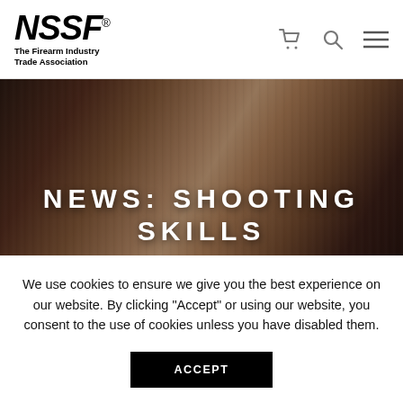NSSF® The Firearm Industry Trade Association
[Figure (photo): Close-up photo of hands typing on a laptop keyboard, with warm brownish tones. Overlaid large white text reads: NEWS: SHOOTING SKILLS]
NEWS: SHOOTING SKILLS
We use cookies to ensure we give you the best experience on our website. By clicking "Accept" or using our website, you consent to the use of cookies unless you have disabled them.
ACCEPT